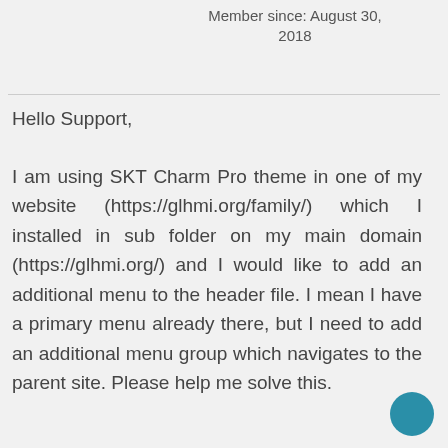Member since: August 30, 2018
Hello Support,
I am using SKT Charm Pro theme in one of my website (https://glhmi.org/family/) which I installed in sub folder on my main domain (https://glhmi.org/) and I would like to add an additional menu to the header file. I mean I have a primary menu already there, but I need to add an additional menu group which navigates to the parent site. Please help me solve this.